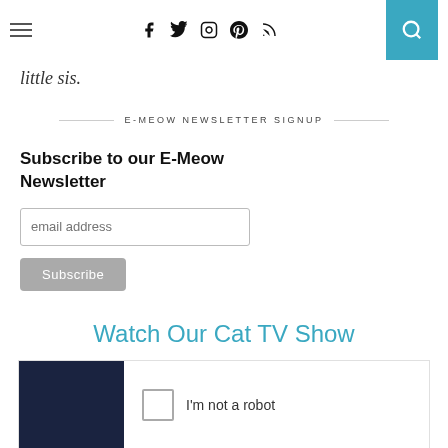≡  [social icons: facebook, twitter, instagram, pinterest, rss]  [search]
little sis.
E-MEOW NEWSLETTER SIGNUP
Subscribe to our E-Meow Newsletter
email address
Subscribe
Watch Our Cat TV Show
[Figure (other): CAPTCHA widget showing checkbox with 'I'm not a robot' text, next to a dark blue video thumbnail area]